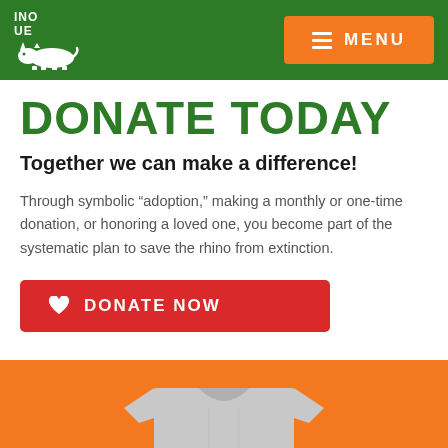RHINO RESCUE - Navigation header with logo and MENU button
DONATE TODAY
Together we can make a difference!
Through symbolic “adoption,” making a monthly or one-time donation, or honoring a loved one, you become part of the systematic plan to save the rhino from extinction.
[Figure (other): Red DONATE NOW button with heart icon]
[Figure (photo): Orange background with partial view of a grey t-shirt from the neck down]